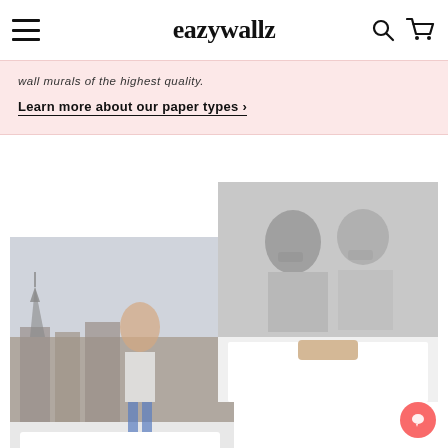eazywallz
wall murals of the highest quality.
Learn more about our paper types ›
[Figure (photo): Person jumping on a bed with Eiffel Tower wall mural in background]
[Figure (photo): Two girls covering mouths with black and white photo wall mural in bedroom]